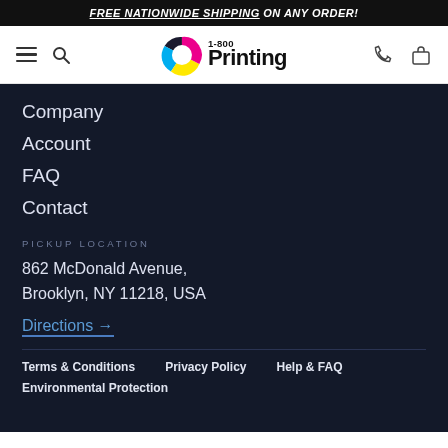FREE NATIONWIDE SHIPPING ON ANY ORDER!
[Figure (logo): 1-800 Printing logo with CMYK color wheel icon]
Company
Account
FAQ
Contact
PICKUP LOCATION
862 McDonald Avenue,
Brooklyn, NY 11218, USA
Directions →
Terms & Conditions   Privacy Policy   Help & FAQ
Environmental Protection